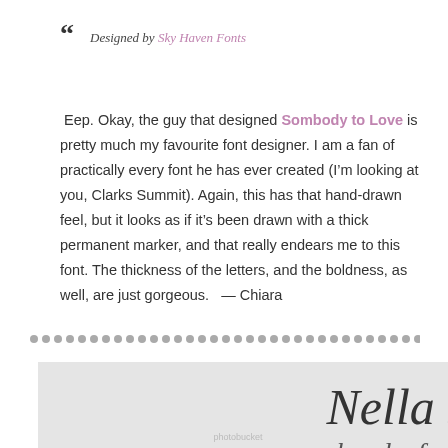“ Designed by Sky Haven Fonts
Eep. Okay, the guy that designed Sombody to Love is pretty much my favourite font designer. I am a fan of practically every font he has ever created (I’m looking at you, Clarks Summit). Again, this has that hand-drawn feel, but it looks as if it’s been drawn with a thick permanent marker, and that really endears me to this font. The thickness of the letters, and the boldness, as well, are just gorgeous.   — Chiara
[Figure (other): Decorative dot divider row]
[Figure (illustration): Preview of Nella Sue font showing cursive script text 'Nella Sue' on a light gray background with photobucket watermark]